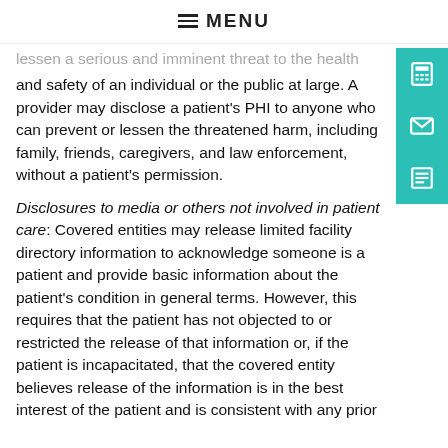≡ MENU
lessen a serious and imminent threat to the health and safety of an individual or the public at large. A provider may disclose a patient's PHI to anyone who can prevent or lessen the threatened harm, including family, friends, caregivers, and law enforcement, without a patient's permission.
Disclosures to media or others not involved in patient care: Covered entities may release limited facility directory information to acknowledge someone is a patient and provide basic information about the patient's condition in general terms. However, this requires that the patient has not objected to or restricted the release of that information or, if the patient is incapacitated, that the covered entity believes release of the information is in the best interest of the patient and is consistent with any prior